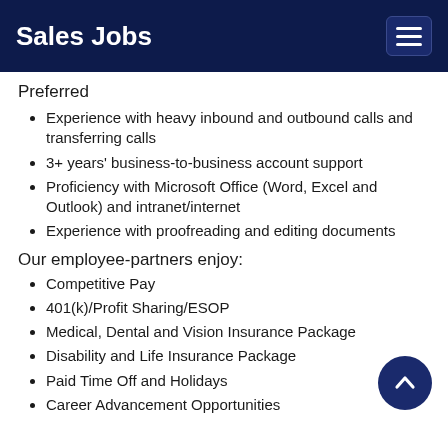Sales Jobs
Preferred
Experience with heavy inbound and outbound calls and transferring calls
3+ years' business-to-business account support
Proficiency with Microsoft Office (Word, Excel and Outlook) and intranet/internet
Experience with proofreading and editing documents
Our employee-partners enjoy:
Competitive Pay
401(k)/Profit Sharing/ESOP
Medical, Dental and Vision Insurance Package
Disability and Life Insurance Package
Paid Time Off and Holidays
Career Advancement Opportunities